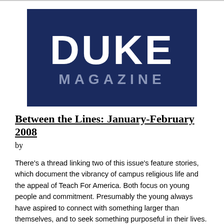[Figure (logo): Duke Magazine logo — dark navy blue rectangle with 'DUKE' in large white bold text and 'MAGAZINE' in gray spaced letters below]
Between the Lines: January-February 2008
by
There's a thread linking two of this issue's feature stories, which document the vibrancy of campus religious life and the appeal of Teach For America. Both focus on young people and commitment. Presumably the young always have aspired to connect with something larger than themselves, and to seek something purposeful in their lives.